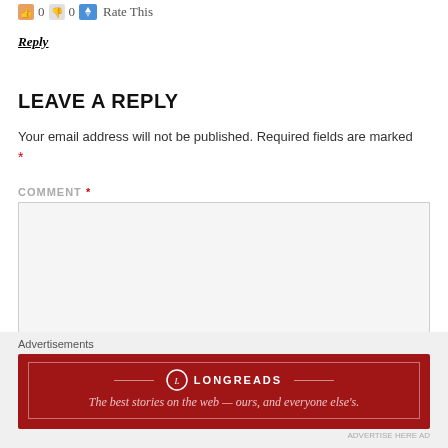0 0 Rate This
Reply
LEAVE A REPLY
Your email address will not be published. Required fields are marked *
COMMENT *
[Figure (other): Empty comment text area input box with light gray background]
Advertisements
[Figure (other): Longreads advertisement banner. Red background with Longreads logo and text: The best stories on the web — ours, and everyone else's.]